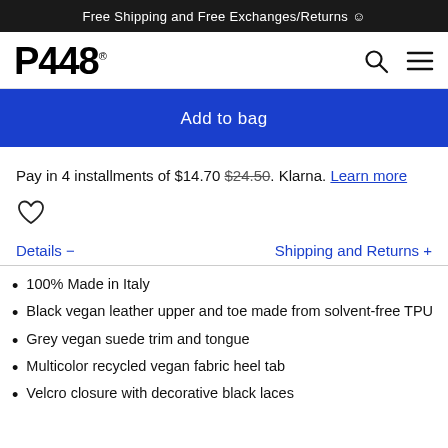Free Shipping and Free Exchanges/Returns ☺
[Figure (logo): P448 brand logo with registered trademark symbol and search/menu icons]
Add to bag
Pay in 4 installments of $14.70 $24.50. Klarna. Learn more
[Figure (other): Heart/wishlist icon]
Details -     Shipping and Returns +
100% Made in Italy
Black vegan leather upper and toe made from solvent-free TPU
Grey vegan suede trim and tongue
Multicolor recycled vegan fabric heel tab
Velcro closure with decorative black laces